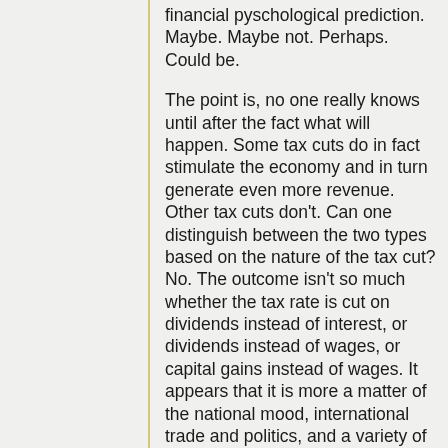financial pyschological prediction. Maybe. Maybe not. Perhaps. Could be.
The point is, no one really knows until after the fact what will happen. Some tax cuts do in fact stimulate the economy and in turn generate even more revenue. Other tax cuts don't. Can one distinguish between the two types based on the nature of the tax cut? No. The outcome isn't so much whether the tax rate is cut on dividends instead of interest, or dividends instead of wages, or capital gains instead of wages. It appears that it is more a matter of the national mood, international trade and politics, and a variety of other measurable economic data and immeasurable psychological data.
What's sad is that these numbers get trotted out by their respective adherents as though they were handed down from on High. No one, at least not on the soundbite news, bothers to explain that they are nothing more than conjecture. People make voting decisions based on information of this sort, and yet it isn't information. People also reserved rooms in